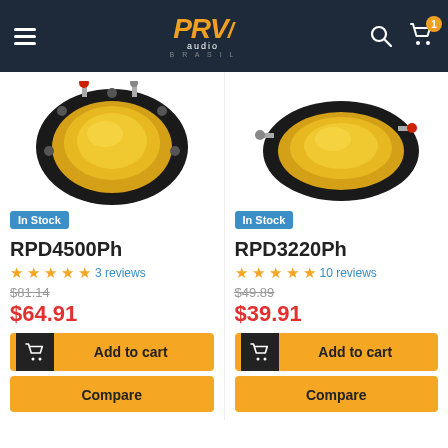[Figure (screenshot): PRV Audio Brasil website header with hamburger menu, orange italic logo 'PRV audio brasil', search icon, and cart icon with badge showing 1 item]
[Figure (photo): RPD4500Ph speaker diaphragm/tweeter replacement — round black frame with gold dome, connection terminals visible]
[Figure (photo): RPD3220Ph speaker diaphragm/tweeter replacement — oval black frame with gold dome, connection terminals visible]
In Stock
RPD4500Ph
★★★★★ 3 reviews
$81.14
$64.91
Add to cart
Compare
In Stock
RPD3220Ph
★★★★★ 10 reviews
$49.89
$39.91
Add to cart
Compare